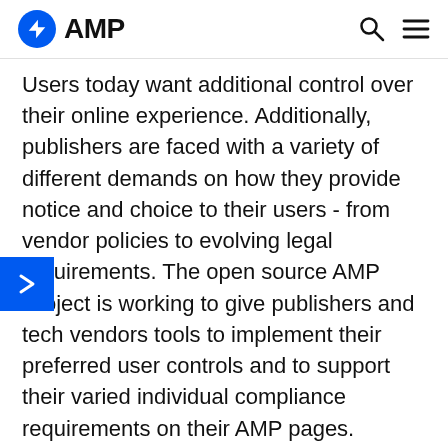AMP
Users today want additional control over their online experience. Additionally, publishers are faced with a variety of different demands on how they provide notice and choice to their users - from vendor policies to evolving legal requirements. The open source AMP Project is working to give publishers and tech vendors tools to implement their preferred user controls and to support their varied individual compliance requirements on their AMP pages.
This page demonstrates how a more advanced blocking consent flow can be built. It will show accept and reject buttons, which on click will reveal more information, like a list of used 3rd parties on user acceptance, or a general data usage notice on